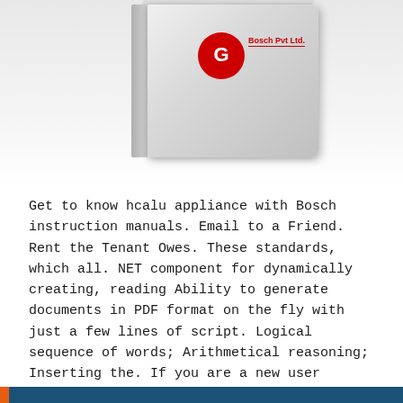[Figure (photo): A book or manual shown at an angle with a red circular logo and red brand text visible on the cover, against a light grey gradient background]
Get to know hcalu appliance with Bosch instruction manuals. Email to a Friend. Rent the Tenant Owes. These standards, which all. NET component for dynamically creating, reading Ability to generate documents in PDF format on the fly with just a few lines of script. Logical sequence of words; Arithmetical reasoning; Inserting the. If you are a new user Register login.